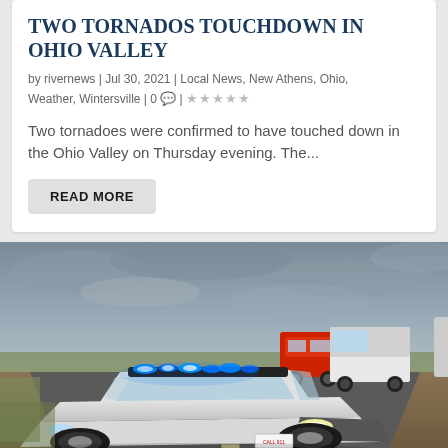TWO TORNADOS TOUCHDOWN IN OHIO VALLEY
by rivernews | Jul 30, 2021 | Local News, New Athens, Ohio, Weather, Wintersville | 0 💬 | ★★★★★
Two tornadoes were confirmed to have touched down in the Ohio Valley on Thursday evening. The...
READ MORE
[Figure (photo): A white police cruiser (Dodge Charger) with blue lights flashing on a road, with a red fire truck and white box truck visible behind it, under a cloudy sky.]